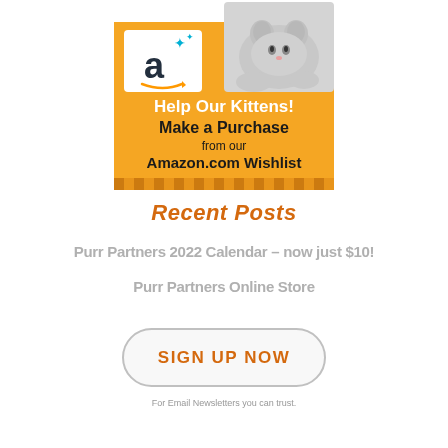[Figure (infographic): Amazon wishlist promotional banner with orange background, Amazon logo, kitten photo, text: Help Our Kittens! Make a Purchase from our Amazon.com Wishlist]
Recent Posts
Purr Partners 2022 Calendar – now just $10!
Purr Partners Online Store
[Figure (infographic): SIGN UP NOW button with rounded rectangle border in light gray, orange text]
For Email Newsletters you can trust.